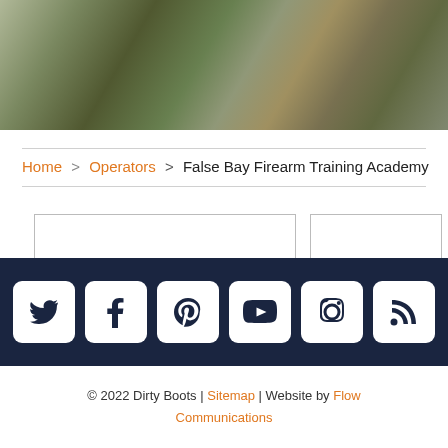[Figure (photo): Photo of people at a firearm training event outdoors, showing individuals in historical/period costumes on a green field.]
Home > Operators > False Bay Firearm Training Academy
[Figure (other): Three empty placeholder card boxes arranged in a row, likely for content cards.]
[Figure (other): Social media icon bar with Twitter, Facebook, Pinterest, YouTube, Instagram, and RSS icons on dark navy background.]
© 2022 Dirty Boots | Sitemap | Website by Flow Communications